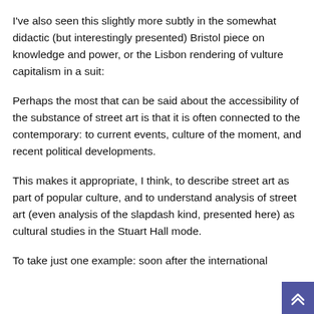I've also seen this slightly more subtly in the somewhat didactic (but interestingly presented) Bristol piece on knowledge and power, or the Lisbon rendering of vulture capitalism in a suit:
Perhaps the most that can be said about the accessibility of the substance of street art is that it is often connected to the contemporary: to current events, culture of the moment, and recent political developments.
This makes it appropriate, I think, to describe street art as part of popular culture, and to understand analysis of street art (even analysis of the slapdash kind, presented here) as cultural studies in the Stuart Hall mode.
To take just one example: soon after the international